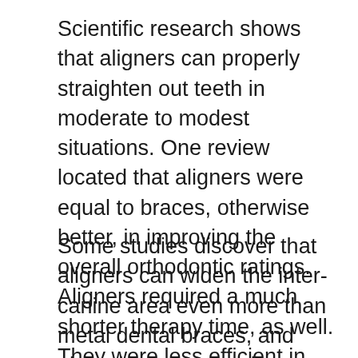Scientific research shows that aligners can properly straighten out teeth in moderate to modest situations. One review located that aligners were equal to braces, otherwise better, in improving the overall orthodontic ratings. Aligners required a much shorter therapy time, as well. They were less efficient in more complicated scenarios with famous imbalances.
Some studies discover that aligners can widen the inter-canine area even more than metal dental braces, and also widen the area in between molars simply as effectively. Enhanced inter-canine width gives your incisors (front teeth) even more area, assisting to relieve a crowded mouth [1]